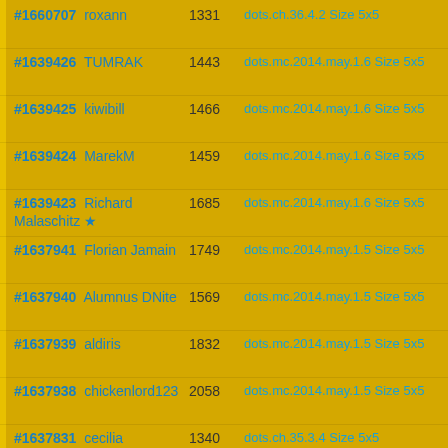| ID / Username | Score | Map |
| --- | --- | --- |
| #1660707 roxann | 1331 | dots.ch.36.4.2 Size 5x5 |
| #1639426 TUMRAK | 1443 | dots.mc.2014.may.1.6 Size 5x5 |
| #1639425 kiwibill | 1466 | dots.mc.2014.may.1.6 Size 5x5 |
| #1639424 MarekM | 1459 | dots.mc.2014.may.1.6 Size 5x5 |
| #1639423 Richard Malaschitz ★ | 1685 | dots.mc.2014.may.1.6 Size 5x5 |
| #1637941 Florian Jamain | 1749 | dots.mc.2014.may.1.5 Size 5x5 |
| #1637940 Alumnus DNite | 1569 | dots.mc.2014.may.1.5 Size 5x5 |
| #1637939 aldiris | 1832 | dots.mc.2014.may.1.5 Size 5x5 |
| #1637938 chickenlord123 | 2058 | dots.mc.2014.may.1.5 Size 5x5 |
| #1637831 cecilia | 1340 | dots.ch.35.3.4 Size 5x5 |
| #1637830 Alumnus SCune | 1473 | dots.ch.35.3.4 Size 5x5 |